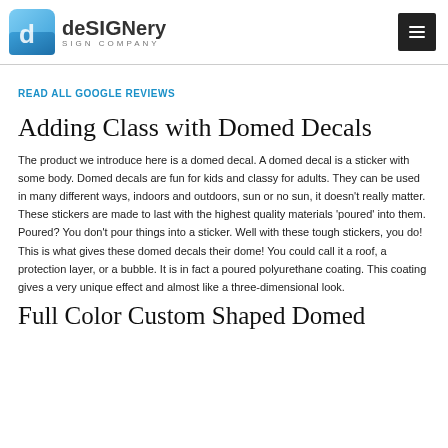deSIGNery SIGN COMPANY
READ ALL GOOGLE REVIEWS
Adding Class with Domed Decals
The product we introduce here is a domed decal. A domed decal is a sticker with some body. Domed decals are fun for kids and classy for adults. They can be used in many different ways, indoors and outdoors, sun or no sun, it doesn't really matter. These stickers are made to last with the highest quality materials 'poured' into them. Poured? You don't pour things into a sticker. Well with these tough stickers, you do! This is what gives these domed decals their dome! You could call it a roof, a protection layer, or a bubble. It is in fact a poured polyurethane coating. This coating gives a very unique effect and almost like a three-dimensional look.
Full Color Custom Shaped Domed